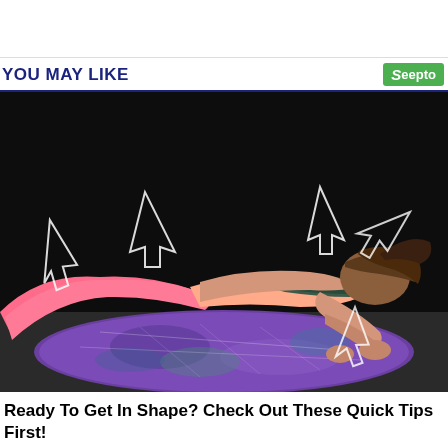YOU MAY LIKE
[Figure (photo): A woman in pink athletic wear doing a push-up on a colorful galaxy-print exercise mat against a dark background, with white geometric arrow overlays on the image.]
Ready To Get In Shape? Check Out These Quick Tips First!